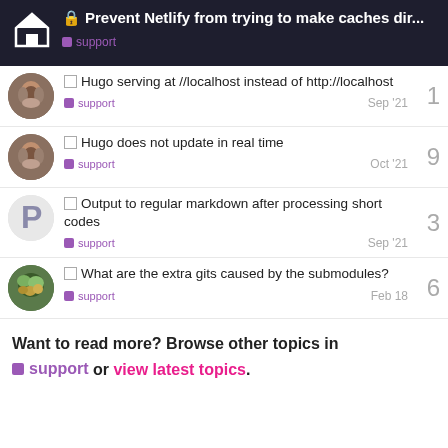Prevent Netlify from trying to make caches dir... support
Hugo serving at //localhost instead of http://localhost — support — Sep '21 — 1
Hugo does not update in real time — support — Oct '21 — 9
Output to regular markdown after processing short codes — support — Sep '21 — 3
What are the extra gits caused by the submodules? — support — Feb 18 — 6
Want to read more? Browse other topics in support or view latest topics.